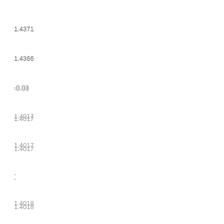1.4371
1.4366
-0.03
1.4017
1.4017
-
1.4018
1.4045 -
1.4026 1.4022
0.00 -0.14 -
0.46 0.48
1.4015 1.4047